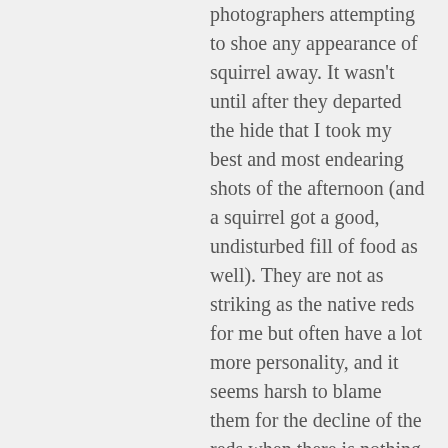photographers attempting to shoe any appearance of squirrel away. It wasn't until after they departed the hide that I took my best and most endearing shots of the afternoon (and a squirrel got a good, undisturbed fill of food as well). They are not as striking as the native reds for me but often have a lot more personality, and it seems harsh to blame them for the decline of the reds when there is nothing intentional about their impact.
Liked by 3 people
DAVID // NOVEMBER 7, 2018 AT 4:20 PM // REPLY
Thank you for the thoughtful comment regarding the Grey in Britain. It is a tough